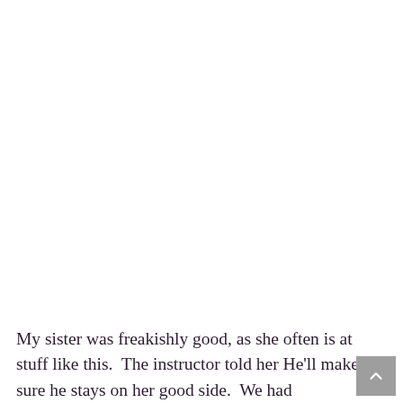My sister was freakishly good, as she often is at stuff like this.  The instructor told her He'll make sure he stays on her good side.  We had